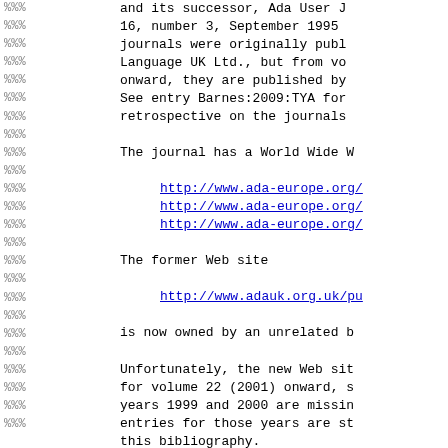and its successor, Ada User J
16, number 3, September 1995
journals were originally publ
Language UK Ltd., but from vo
onward, they are published by
See entry Barnes:2009:TYA for
retrospective on the journals
The journal has a World Wide W
http://www.ada-europe.org/
http://www.ada-europe.org/
http://www.ada-europe.org/
The former Web site
http://www.adauk.org.uk/pu
is now owned by an unrelated b
Unfortunately, the new Web sit
for volume 22 (2001) onward, s
years 1999 and 2000 are missin
entries for those years are st
this bibliography.
At version 1.17, the year cove
like this:
1987 (  33)    1997 ( 25
1988 (  81)    1998 ( 8